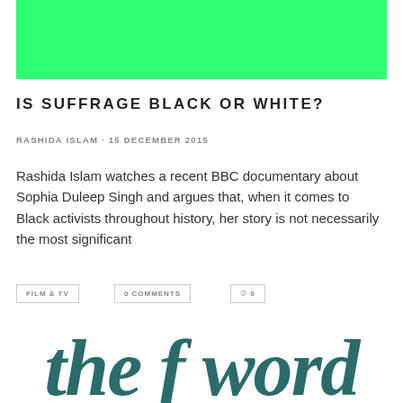[Figure (other): Green rectangular banner/header image at the top of the page]
IS SUFFRAGE BLACK OR WHITE?
RASHIDA ISLAM · 15 DECEMBER 2015
Rashida Islam watches a recent BBC documentary about Sophia Duleep Singh and argues that, when it comes to Black activists throughout history, her story is not necessarily the most significant
FILM & TV
0 COMMENTS
♡ 0
[Figure (logo): The F Word logo in teal/dark green italic serif font at the bottom of the page]